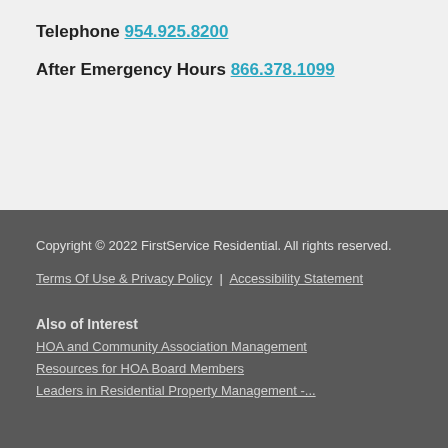Telephone 954.925.8200
After Emergency Hours 866.378.1099
Copyright © 2022 FirstService Residential. All rights reserved.
Terms Of Use & Privacy Policy  |  Accessibility Statement
Also of Interest
HOA and Community Association Management
Resources for HOA Board Members
Leaders in Residential Property Management -...